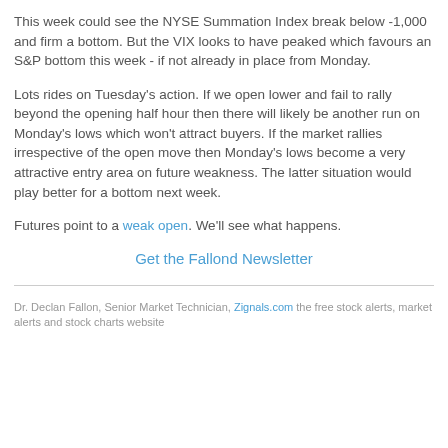This week could see the NYSE Summation Index break below -1,000 and firm a bottom. But the VIX looks to have peaked which favours an S&P bottom this week - if not already in place from Monday.
Lots rides on Tuesday's action. If we open lower and fail to rally beyond the opening half hour then there will likely be another run on Monday's lows which won't attract buyers. If the market rallies irrespective of the open move then Monday's lows become a very attractive entry area on future weakness. The latter situation would play better for a bottom next week.
Futures point to a weak open. We'll see what happens.
Get the Fallond Newsletter
Dr. Declan Fallon, Senior Market Technician, Zignals.com the free stock alerts, market alerts and stock charts website